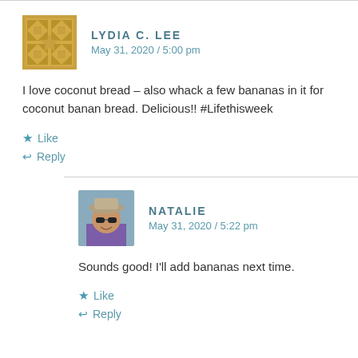LYDIA C. LEE
May 31, 2020 / 5:00 pm
I love coconut bread – also whack a few bananas in it for coconut banan bread. Delicious!! #Lifethisweek
Like
Reply
NATALIE
May 31, 2020 / 5:22 pm
Sounds good! I'll add bananas next time.
Like
Reply